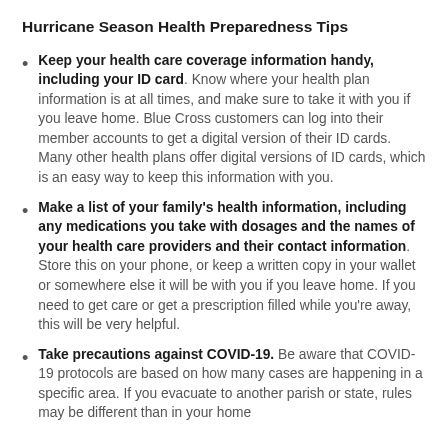Hurricane Season Health Preparedness Tips
Keep your health care coverage information handy, including your ID card. Know where your health plan information is at all times, and make sure to take it with you if you leave home. Blue Cross customers can log into their member accounts to get a digital version of their ID cards. Many other health plans offer digital versions of ID cards, which is an easy way to keep this information with you.
Make a list of your family's health information, including any medications you take with dosages and the names of your health care providers and their contact information. Store this on your phone, or keep a written copy in your wallet or somewhere else it will be with you if you leave home. If you need to get care or get a prescription filled while you're away, this will be very helpful.
Take precautions against COVID-19. Be aware that COVID-19 protocols are based on how many cases are happening in a specific area. If you evacuate to another parish or state, rules may be different than in your home